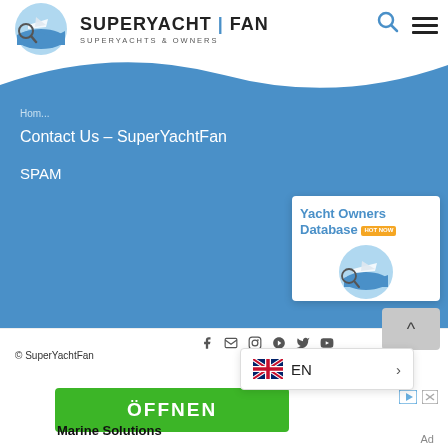SUPERYACHT|FAN — SUPERYACHTS & OWNERS
Home
Contact Us – SuperYachtFan
SPAM
[Figure (illustration): Yacht Owners Database promotional card with logo and HOT NOW badge]
© SuperYachtFan
[Figure (infographic): Language selector popup showing UK flag and EN language option with arrow]
[Figure (other): Green button labeled ÖFFNEN with ad icons (play and X) and Marine Solutions text below]